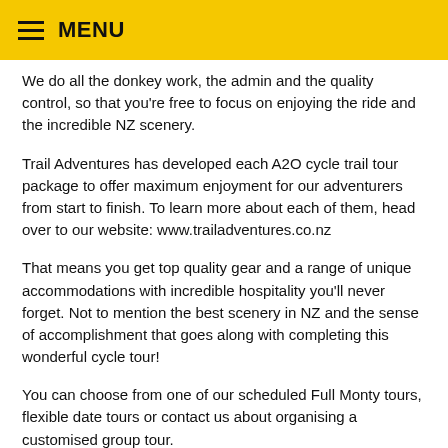MENU
We do all the donkey work, the admin and the quality control, so that you're free to focus on enjoying the ride and the incredible NZ scenery.
Trail Adventures has developed each A2O cycle trail tour package to offer maximum enjoyment for our adventurers from start to finish. To learn more about each of them, head over to our website: www.trailadventures.co.nz
That means you get top quality gear and a range of unique accommodations with incredible hospitality you'll never forget. Not to mention the best scenery in NZ and the sense of accomplishment that goes along with completing this wonderful cycle tour!
You can choose from one of our scheduled Full Monty tours, flexible date tours or contact us about organising a customised group tour.
FULL MONTY EXPERIENCE: SPECIFIC STARTING DATES
The bonus of the Full Monty experience is that all